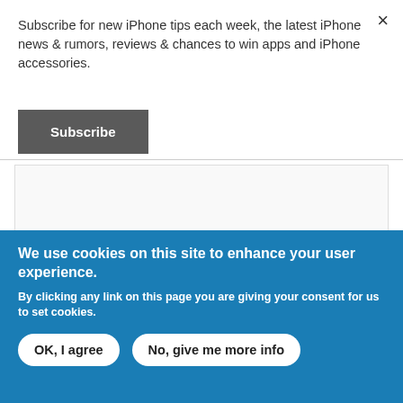Subscribe for new iPhone tips each week, the latest iPhone news & rumors, reviews & chances to win apps and iPhone accessories.
Subscribe
[Figure (other): Empty advertisement box placeholder]
We use cookies on this site to enhance your user experience.
By clicking any link on this page you are giving your consent for us to set cookies.
OK, I agree
No, give me more info